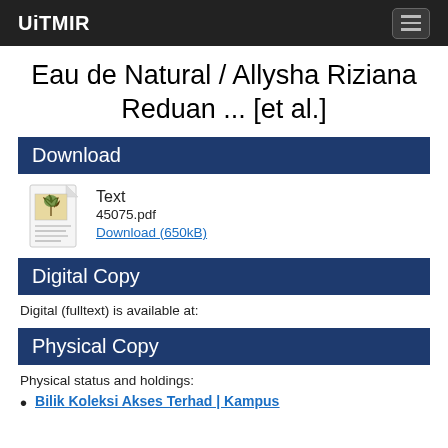UiTMIR
Eau de Natural / Allysha Riziana Reduan ... [et al.]
Download
[Figure (other): PDF file icon thumbnail with document image]
Text
45075.pdf
Download (650kB)
Digital Copy
Digital (fulltext) is available at:
Physical Copy
Physical status and holdings:
Bilik Koleksi Akses Terhad | Kampus